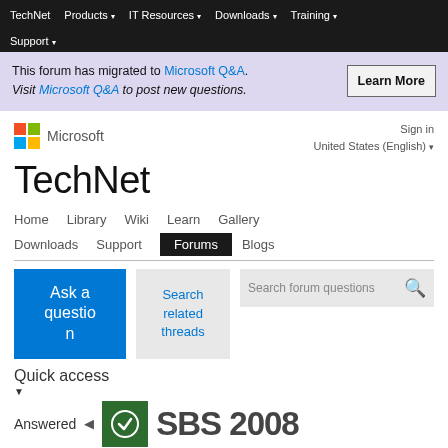TechNet   Products ▾   IT Resources ▾   Downloads ▾   Training ▾   Support ▾
This forum has migrated to Microsoft Q&A. Visit Microsoft Q&A to post new questions. [Learn More]
TechNet
Home   Library   Wiki   Learn   Gallery   Downloads   Support   Forums   Blogs
Ask a question
Search related threads
Search forum questions
Quick access
Answered
SBS 2008